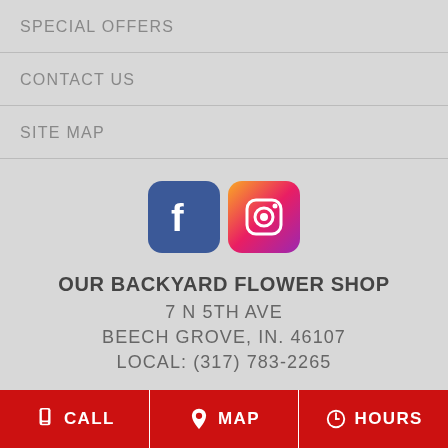SPECIAL OFFERS
CONTACT US
SITE MAP
[Figure (logo): Facebook and Instagram social media icons side by side]
OUR BACKYARD FLOWER SHOP
7 N 5TH AVE
BEECH GROVE, IN. 46107
LOCAL: (317) 783-2265
CALL  MAP  HOURS